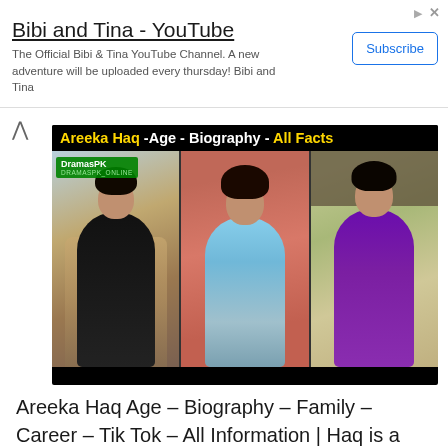[Figure (other): Advertisement banner for Bibi and Tina YouTube channel with Subscribe button]
Bibi and Tina - YouTube
The Official Bibi & Tina YouTube Channel. A new adventure will be uploaded every thursday! Bibi and Tina
[Figure (photo): YouTube thumbnail for Areeka Haq Age - Biography - All Facts video on DramasPK channel, showing three photos of a young Pakistani woman in different outfits against various backgrounds]
Areeka Haq Age – Biography – Family – Career – Tik Tok – All Information | Haq is a famous tik toker and model of Pakistan. She is a Famous Personality on social media. If